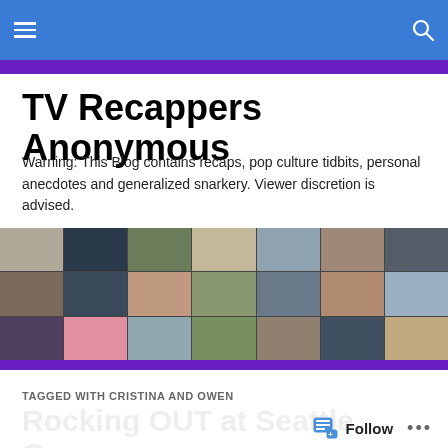TV Recappers Anonymous
Warning: This Blog contains recaps, pop culture tidbits, personal anecdotes and generalized snarkery. Viewer discretion is advised.
[Figure (photo): Collage of multiple male TV character photos arranged in a grid]
TAGGED WITH CRISTINA AND OWEN
Rocking OUT at Seattle Grace